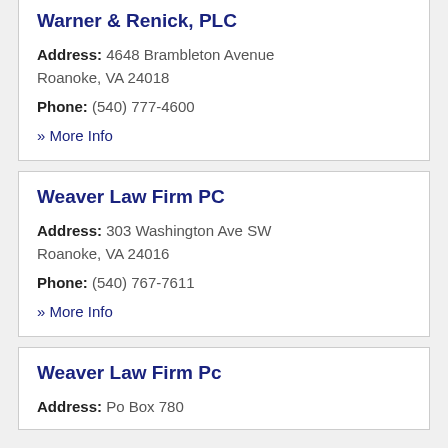Warner & Renick, PLC
Address: 4648 Brambleton Avenue Roanoke, VA 24018
Phone: (540) 777-4600
» More Info
Weaver Law Firm PC
Address: 303 Washington Ave SW Roanoke, VA 24016
Phone: (540) 767-7611
» More Info
Weaver Law Firm Pc
Address: Po Box 780